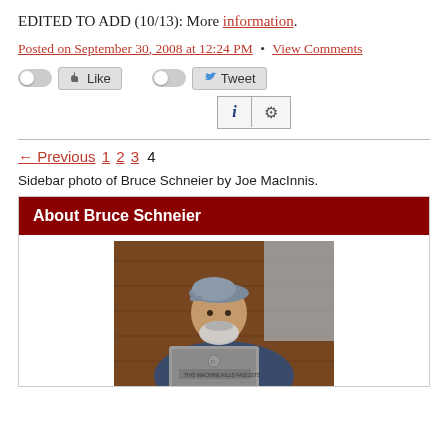EDITED TO ADD (10/13): More information.
Posted on September 30, 2008 at 12:24 PM • View Comments
[Figure (screenshot): Social sharing buttons: Like toggle and Tweet toggle with icons]
[Figure (screenshot): Info (i) and gear (settings) icon buttons]
← Previous 1 2 3 4
Sidebar photo of Bruce Schneier by Joe MacInnis.
About Bruce Schneier
[Figure (photo): Photo of Bruce Schneier, a bearded man wearing a grey flat cap and blue blazer, sitting behind a laptop with a sticker reading 'THIS MACHINE KILLS FASCISTS']